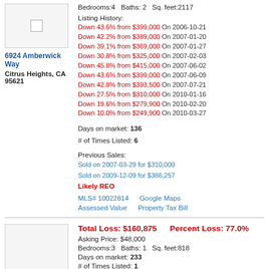[Figure (photo): Property photo placeholder (broken image) for 6924 Amberwick Way]
6924 Amberwick Way
Citrus Heights, CA 95621
Bedrooms:4   Baths: 2   Sq. feet:2117
Listing History:
Down 43.6% from $399,000 On 2006-10-21
Down 42.2% from $389,000 On 2007-01-20
Down 39.1% from $369,000 On 2007-01-27
Down 30.8% from $325,000 On 2007-02-03
Down 45.8% from $415,000 On 2007-06-02
Down 43.6% from $399,000 On 2007-06-09
Down 42.8% from $393,500 On 2007-07-21
Down 27.5% from $310,000 On 2010-01-16
Down 19.6% from $279,900 On 2010-02-20
Down 10.0% from $249,900 On 2010-03-27
Days on market: 136
# of Times Listed: 6
Previous Sales:
Sold on 2007-03-29 for $310,000
Sold on 2009-12-09 for $386,257
Likely REO
MLS# 10022814   Google Maps
Assessed Value   Property Tax Bill
[Figure (photo): Property photo placeholder (broken image) for second listing]
Total Loss: $160,875   Percent Loss: 77.0%
Asking Price: $48,000
Bedrooms:3   Baths: 1   Sq. feet:818
Days on market: 233
# of Times Listed: 1